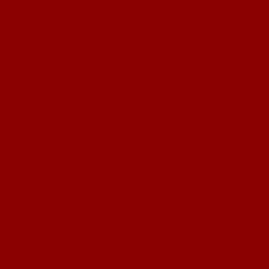biggest
bililing
billings
bireme
bismarck
black
blackbeard's
blakes
blast
blinker
block
blue
bluebird
bluejacket
bluenose
bnib
boat
boatload
bonhomme
bought
bounty
brand
brand-new
break
brenda
More Posts »